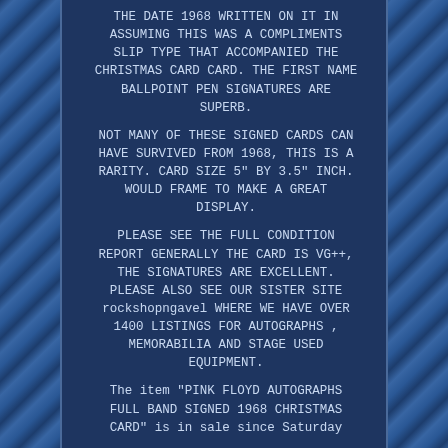THE DATE 1968 WRITTEN ON IT IN ASSUMING THIS WAS A COMPLIMENTS SLIP TYPE THAT ACCOMPANIED THE CHRISTMAS CARD CARD. THE FIRST NAME BALLPOINT PEN SIGNATURES ARE SUPERB.
NOT MANY OF THESE SIGNED CARDS CAN HAVE SURVIVED FROM 1968, THIS IS A RARITY. CARD SIZE 5" BY 3.5" INCH. WOULD FRAME TO MAKE A GREAT DISPLAY.
PLEASE SEE THE FULL CONDITION REPORT GENERALLY THE CARD IS VG++, THE SIGNATURES ARE EXCELLENT. PLEASE ALSO SEE OUR SISTER SITE rockshopngavel WHERE WE HAVE OVER 1400 LISTINGS FOR AUTOGRAPHS , MEMORABILIA AND STAGE USED EQUIPMENT.
The item "PINK FLOYD AUTOGRAPHS FULL BAND SIGNED 1968 CHRISTMAS CARD" is in sale since Saturday